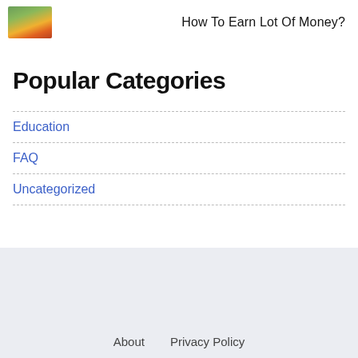[Figure (photo): Small thumbnail image of a colorful landscape with purple/blue flowers and yellow wildflowers against a mountain background]
How To Earn Lot Of Money?
Popular Categories
Education
FAQ
Uncategorized
About   Privacy Policy